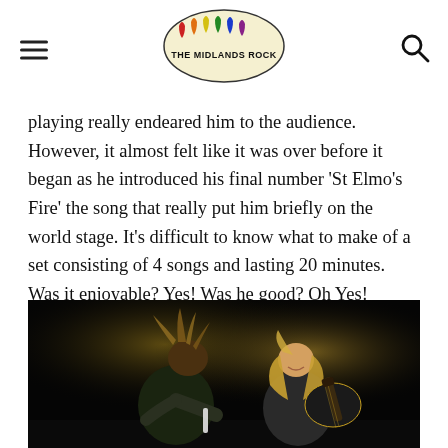THE MIDLANDS ROCK (logo)
playing really endeared him to the audience. However, it almost felt like it was over before it began as he introduced his final number ‘St Elmo’s Fire’ the song that really put him briefly on the world stage. It’s difficult to know what to make of a set consisting of 4 songs and lasting 20 minutes. Was it enjoyable? Yes! Was he good? Oh Yes!
[Figure (photo): Two musicians on a dark stage, one with dreadlocks leaning toward the other, a smiling woman with long blonde hair playing an electric guitar, both illuminated by yellow stage lighting against a black background.]